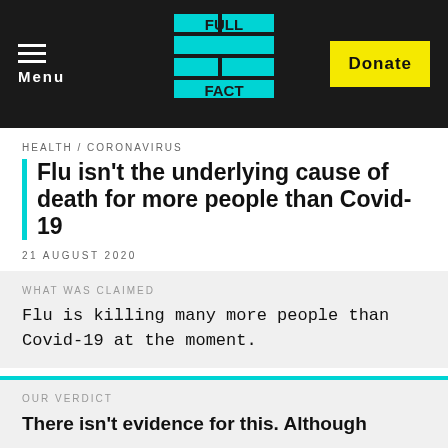Menu | FULL FACT | Donate
HEALTH / CORONAVIRUS
Flu isn't the underlying cause of death for more people than Covid-19
21 AUGUST 2020
WHAT WAS CLAIMED
Flu is killing many more people than Covid-19 at the moment.
OUR VERDICT
There isn't evidence for this. Although